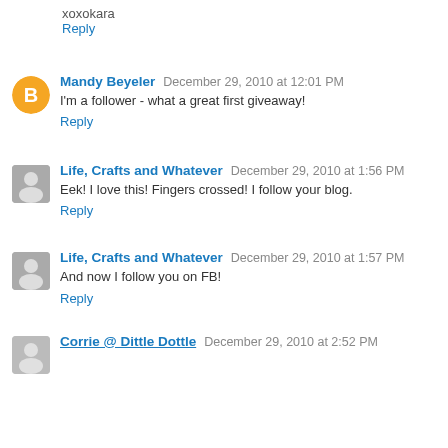xoxokara
Reply
Mandy Beyeler  December 29, 2010 at 12:01 PM
I'm a follower - what a great first giveaway!
Reply
Life, Crafts and Whatever  December 29, 2010 at 1:56 PM
Eek! I love this! Fingers crossed! I follow your blog.
Reply
Life, Crafts and Whatever  December 29, 2010 at 1:57 PM
And now I follow you on FB!
Reply
Corrie @ Dittle Dottle  December 29, 2010 at 2:52 PM